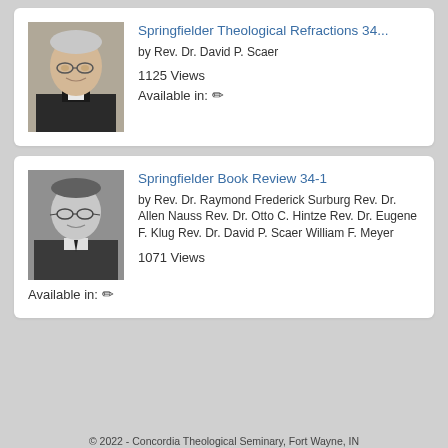[Figure (photo): Color photo of Rev. Dr. David P. Scaer, an older man in clergy attire]
Springfielder Theological Refractions 34...
by Rev. Dr. David P. Scaer
1125 Views
Available in: ✏
[Figure (photo): Black and white photo of Rev. Dr. Raymond Frederick Surburg, an older man in a suit]
Springfielder Book Review 34-1
by Rev. Dr. Raymond Frederick Surburg Rev. Dr. Allen Nauss Rev. Dr. Otto C. Hintze Rev. Dr. Eugene F. Klug Rev. Dr. David P. Scaer William F. Meyer
1071 Views
Available in: ✏
© 2022 - Concordia Theological Seminary, Fort Wayne, IN